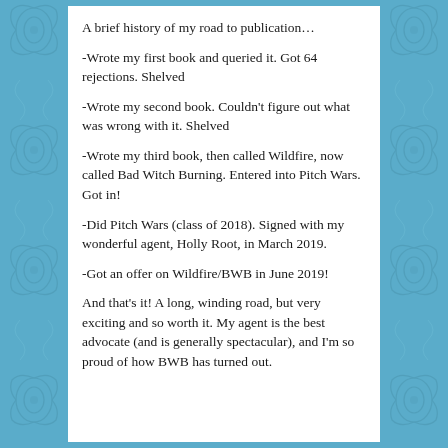A brief history of my road to publication…
-Wrote my first book and queried it. Got 64 rejections. Shelved
-Wrote my second book. Couldn't figure out what was wrong with it. Shelved
-Wrote my third book, then called Wildfire, now called Bad Witch Burning. Entered into Pitch Wars. Got in!
-Did Pitch Wars (class of 2018). Signed with my wonderful agent, Holly Root, in March 2019.
-Got an offer on Wildfire/BWB in June 2019!
And that's it! A long, winding road, but very exciting and so worth it. My agent is the best advocate (and is generally spectacular), and I'm so proud of how BWB has turned out.